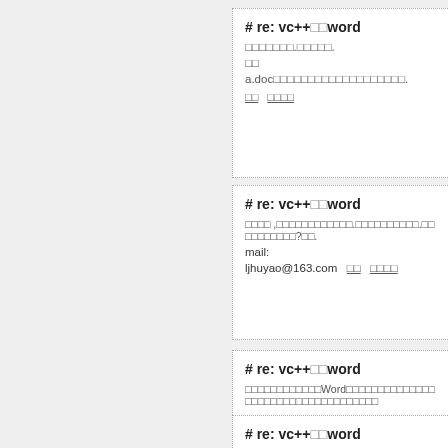# re: vc++□□word
□□□□□□□.□□□□□.
□□
a.doc□□□□□□□□□□□□□□□□□□□.
□□  □□□□
# re: vc++□□word
□□□□ ,□□□□□□□□□□□□.□□□□□□□□□□.□□□□□□□□□□?□□.
mail:
ljhuyao@163.com  □□  □□□□
# re: vc++□□word
□□□□□□□□□□□□Word□□□□□□□□□□□□□□□□□□□□□□□□□□□□□□□□□□
# re: vc++□□word